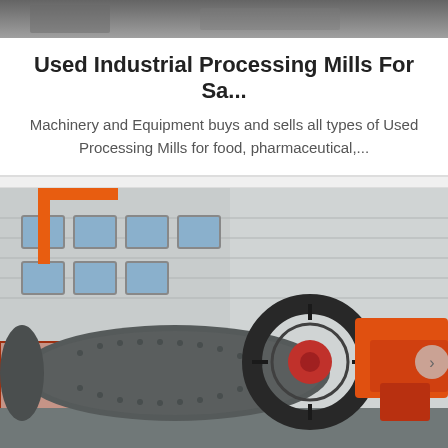[Figure (photo): Top portion of a used processing mills photo, partially cropped at top]
Used Industrial Processing Mills For Sa...
Machinery and Equipment buys and sells all types of Used Processing Mills for food, pharmaceutical,...
[Figure (photo): Industrial ball mill machine outside a factory building, with large gear ring and orange cylindrical components]
Get Quotation   Online Chat